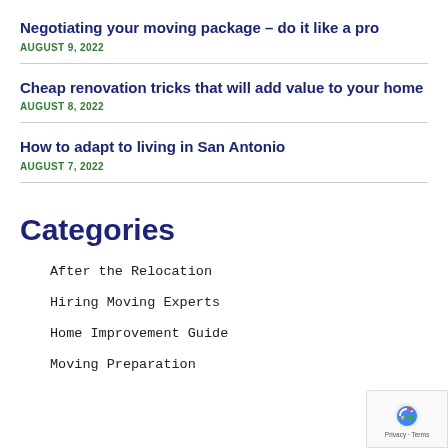Negotiating your moving package – do it like a pro
AUGUST 9, 2022
Cheap renovation tricks that will add value to your home
AUGUST 8, 2022
How to adapt to living in San Antonio
AUGUST 7, 2022
Categories
After the Relocation
Hiring Moving Experts
Home Improvement Guide
Moving Preparation